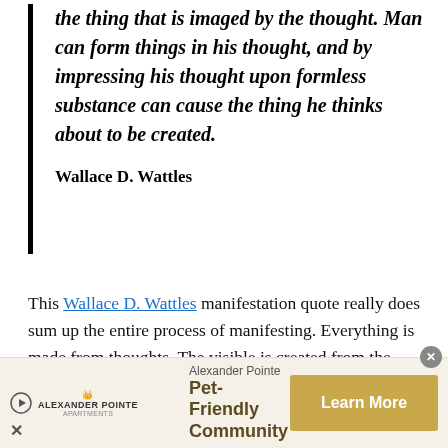the thing that is imaged by the thought. Man can form things in his thought, and by impressing his thought upon formless substance can cause the thing he thinks about to be created.
Wallace D. Wattles
This Wallace D. Wattles manifestation quote really does sum up the entire process of manifesting. Everything is made from thoughts. The visible is created from the invisible.
Using the power of your thoughts you can harness
[Figure (other): Advertisement banner for Alexander Pointe Pet-Friendly Community with play button icon, logo, text, and a gold Learn More button. Close (x) button in top-right corner.]